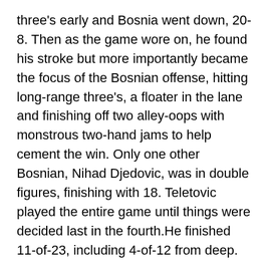three's early and Bosnia went down, 20-8. Then as the game wore on, he found his stroke but more importantly became the focus of the Bosnian offense, hitting long-range three's, a floater in the lane and finishing off two alley-oops with monstrous two-hand jams to help cement the win. Only one other Bosnian, Nihad Djedovic, was in double figures, finishing with 18. Teletovic played the entire game until things were decided last in the fourth.He finished 11-of-23, including 4-of-12 from deep.
After the game, Teletovic retweeted a message from Ed Dzeko, Bosnia's soccer star, adding "teamwork" and an image of the scoreboard.